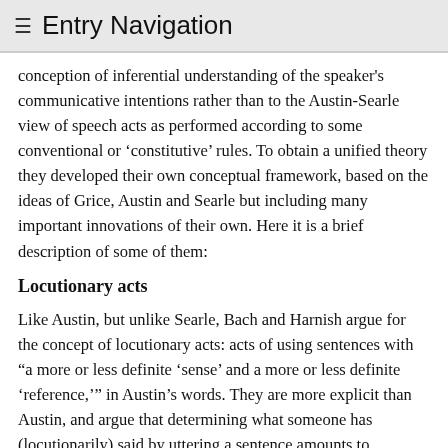≡ Entry Navigation
conception of inferential understanding of the speaker's communicative intentions rather than to the Austin-Searle view of speech acts as performed according to some conventional or 'constitutive' rules. To obtain a unified theory they developed their own conceptual framework, based on the ideas of Grice, Austin and Searle but including many important innovations of their own. Here it is a brief description of some of them:
Locutionary acts
Like Austin, but unlike Searle, Bach and Harnish argue for the concept of locutionary acts: acts of using sentences with "a more or less definite 'sense' and a more or less definite 'reference,'" in Austin's words. They are more explicit than Austin, and argue that determining what someone has (locutionarily) said by uttering a sentence amounts to determining
i. the operative meaning of the sentence uttered
ii. the referents for the referring expressions